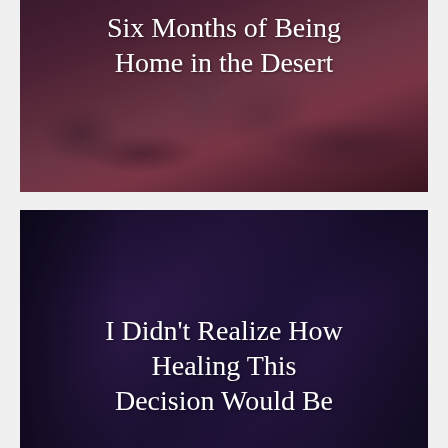[Figure (photo): Dark desert scene with cacti and reddish-purple foliage, overlaid with the title text 'Six Months of Being Home in the Desert']
Six Months of Being Home in the Desert
[Figure (photo): Dark indoor scene with a hand holding a purple/dark book or card, overlaid with the title text 'I Didn't Realize How Healing This Decision Would Be']
I Didn't Realize How Healing This Decision Would Be